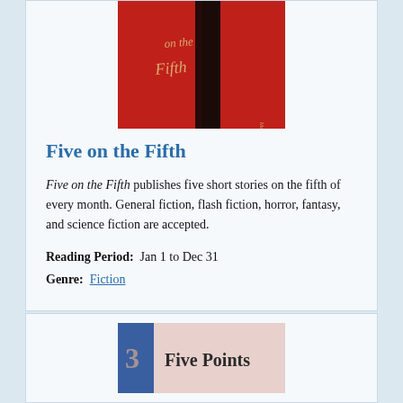[Figure (photo): Book cover of 'Five on the Fifth' — red background with dark vertical stripe and cursive text reading 'on the Fifth']
Five on the Fifth
Five on the Fifth publishes five short stories on the fifth of every month. General fiction, flash fiction, horror, fantasy, and science fiction are accepted.
Reading Period:  Jan 1 to Dec 31
Genre:  Fiction
[Figure (photo): Partial book cover showing 'Five Points' text at bottom of page]